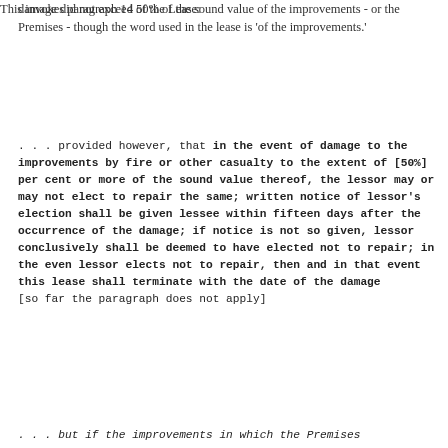damage did not exceed 50% of the sound value of the improvements - or the Premises - though the word used in the lease is 'of the improvements.'
This invokes paragraph 14 of the Lease:
. . . provided however, that in the event of damage to the improvements by fire or other casualty to the extent of [50%] per cent or more of the sound value thereof, the lessor may or may not elect to repair the same; written notice of lessor's election shall be given lessee within fifteen days after the occurrence of the damage; if notice is not so given, lessor conclusively shall be deemed to have elected not to repair; in the even lessor elects not to repair, then and in that event this lease shall terminate with the date of the damage [so far the paragraph does not apply]
. . . but if the improvements in which the Premises